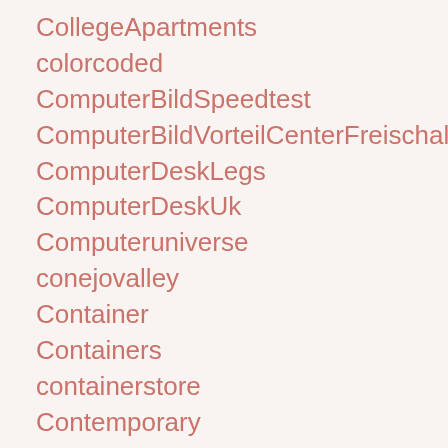CollegeApartments
colorcoded
ComputerBildSpeedtest
ComputerBildVorteilCenterFreischaltcode
ComputerDeskLegs
ComputerDeskUk
Computeruniverse
conejovalley
Container
Containers
containerstore
Contemporary
ConvenienceHardware
CookingUtensilSets
cool